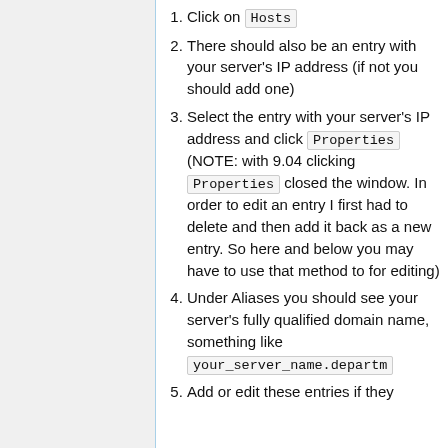Click on Hosts
There should also be an entry with your server's IP address (if not you should add one)
Select the entry with your server's IP address and click Properties (NOTE: with 9.04 clicking Properties closed the window. In order to edit an entry I first had to delete and then add it back as a new entry. So here and below you may have to use that method to for editing)
Under Aliases you should see your server's fully qualified domain name, something like your_server_name.departm
Add or edit these entries if they